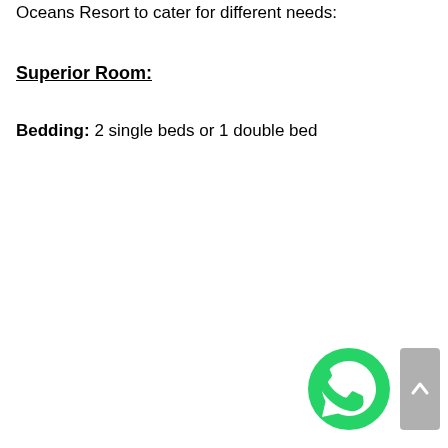Oceans Resort to cater for different needs:
Superior Room:
Bedding: 2 single beds or 1 double bed
[Figure (illustration): WhatsApp contact button (green circle with phone handset icon) and a grey scroll-to-top arrow button in the bottom-right corner of the page.]